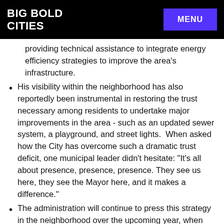BIG BOLD CITIES | MENU
providing technical assistance to integrate energy efficiency strategies to improve the area's infrastructure.
His visibility within the neighborhood has also reportedly been instrumental in restoring the trust necessary among residents to undertake major improvements in the area - such as an updated sewer system, a playground, and street lights.  When asked how the City has overcome such a dramatic trust deficit, one municipal leader didn't hesitate: “It’s all about presence, presence, presence. They see us here, they see the Mayor here, and it makes a difference.”
The administration will continue to press this strategy in the neighborhood over the upcoming year, when the City’s Ministry of Education is scheduled to relocate to the area.